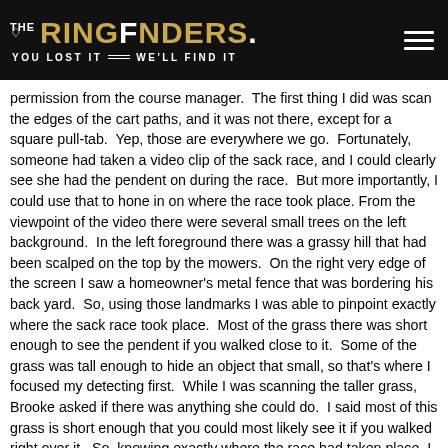THE RINGFINDERS. YOU LOST IT — WE'LL FIND IT
permission from the course manager.  The first thing I did was scan the edges of the cart paths, and it was not there, except for a square pull-tab.  Yep, those are everywhere we go.  Fortunately, someone had taken a video clip of the sack race, and I could clearly see she had the pendent on during the race.  But more importantly, I could use that to hone in on where the race took place. From the viewpoint of the video there were several small trees on the left background.  In the left foreground there was a grassy hill that had been scalped on the top by the mowers.  On the right very edge of the screen I saw a homeowner's metal fence that was bordering his back yard.  So, using those landmarks I was able to pinpoint exactly where the sack race took place.  Most of the grass there was short enough to see the pendent if you walked close to it.  Some of the grass was tall enough to hide an object that small, so that's where I focused my detecting first.  While I was scanning the taller grass, Brooke asked if there was anything she could do.  I said most of this grass is short enough that you could most likely see it if you walked right over it.  So, knowing exactly where the race had taken place, I had started scanning around halfway to the finish line where the taller grass was, and Brooke started walking ahead of me near the finish line where the shorter grass was.  After around twenty